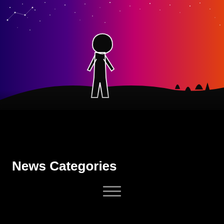[Figure (illustration): Night sky scene with a silhouette of a person standing on a hill/mound. The sky transitions from deep blue on the left with stars and a constellation outline, to purple/magenta in the middle, to orange-red on the right horizon. The person is outlined in white/glowing light. Dark silhouetted hills and vegetation in the foreground. The bottom half of the image fades to black.]
News Categories